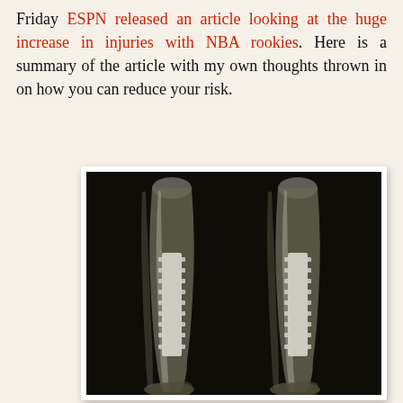Friday ESPN released an article looking at the huge increase in injuries with NBA rookies. Here is a summary of the article with my own thoughts thrown in on how you can reduce your risk.
[Figure (photo): X-ray image showing two lower leg bones (tibia/fibula) with surgical metal plates and screws visible on each leg, side by side in a black background typical of medical radiographs.]